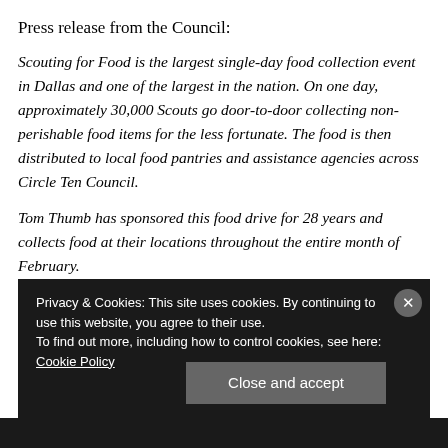Press release from the Council:
Scouting for Food is the largest single-day food collection event in Dallas and one of the largest in the nation. On one day, approximately 30,000 Scouts go door-to-door collecting non-perishable food items for the less fortunate. The food is then distributed to local food pantries and assistance agencies across Circle Ten Council.
Tom Thumb has sponsored this food drive for 28 years and collects food at their locations throughout the entire month of February.
Privacy & Cookies: This site uses cookies. By continuing to use this website, you agree to their use.
To find out more, including how to control cookies, see here: Cookie Policy
Close and accept